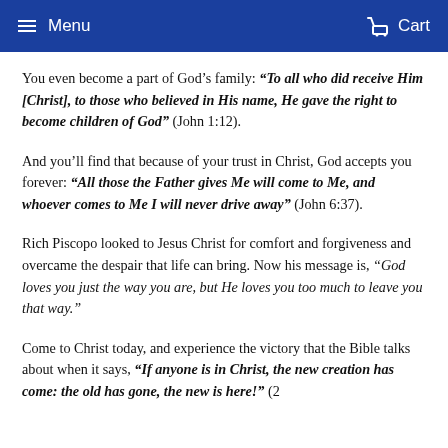Menu   Cart
You even become a part of God’s family: “To all who did receive Him [Christ], to those who believed in His name, He gave the right to become children of God” (John 1:12).
And you’ll find that because of your trust in Christ, God accepts you forever: “All those the Father gives Me will come to Me, and whoever comes to Me I will never drive away” (John 6:37).
Rich Piscopo looked to Jesus Christ for comfort and forgiveness and overcame the despair that life can bring. Now his message is, “God loves you just the way you are, but He loves you too much to leave you that way.”
Come to Christ today, and experience the victory that the Bible talks about when it says, “If anyone is in Christ, the new creation has come: the old has gone, the new is here!” (2